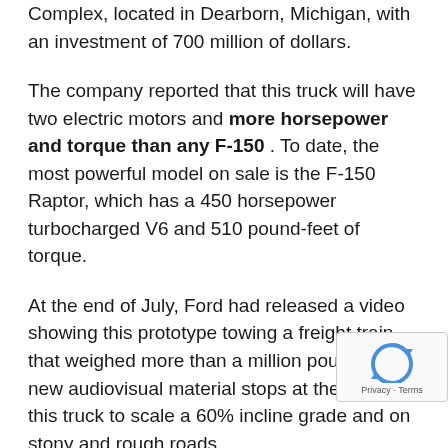Complex, located in Dearborn, Michigan, with an investment of 700 million of dollars.
The company reported that this truck will have two electric motors and more horsepower and torque than any F-150 . To date, the most powerful model on sale is the F-150 Raptor, which has a 450 horsepower turbocharged V6 and 510 pound-feet of torque.
At the end of July, Ford had released a video showing this prototype towing a freight train that weighed more than a million pounds. The new audiovisual material stops at the ability of this truck to scale a 60% incline grade and on stony and rough roads.
Although no details have been given on the size of the battery or its autonomy, it is expected that this variant